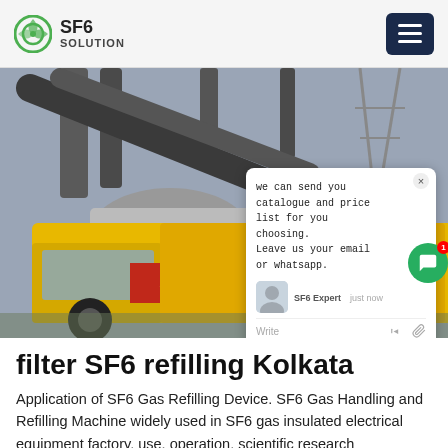SF6 SOLUTION
[Figure (photo): A yellow truck with Chinese text on a red banner, parked at an industrial electrical substation with large pipes and transmission towers. A chat popup overlay is visible on the right side of the image.]
filter SF6 refilling Kolkata
Application of SF6 Gas Refilling Device. SF6 Gas Handling and Refilling Machine widely used in SF6 gas insulated electrical equipment factory, use, operation, scientific research departments and so